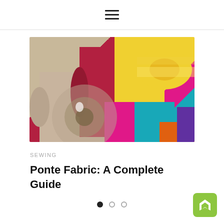menu (hamburger icon)
[Figure (photo): Multiple rolls of colorful fabric stacked together — including cream/beige, red/crimson, yellow, magenta/pink, teal/turquoise, and orange rolls — photographed from the front showing the rolled fabric ends.]
SEWING
Ponte Fabric: A Complete Guide
[Figure (other): Pagination dots: one filled black dot, two empty circle dots indicating a carousel with 3 slides, first selected.]
[Figure (logo): Feedly green rounded square button with white diamond/bookmark icon in the bottom-right corner of the page.]